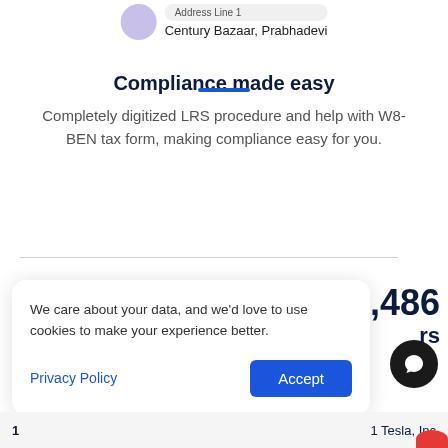[Figure (illustration): Partial user avatar (purple/lavender circle) with an address pill label and text 'Century Bazaar, Prabhadevi' below it]
Compliance made easy
Completely digitized LRS procedure and help with W8-BEN tax form, making compliance easy for you.
1,486
rs
We care about your data, and we'd love to use cookies to make your experience better.
Privacy Policy
Accept
1 Tesla, Inc